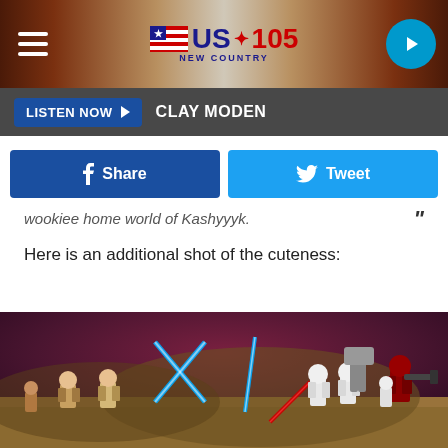US 105 New Country - LISTEN NOW - CLAY MODEN
wookiee home world of Kashyyyk.
Here is an additional shot of the cuteness:
[Figure (screenshot): LEGO Star Wars video game screenshot showing LEGO figures including Jedi with blue lightsabers and Snowtroopers and Sith with red lightsaber fighting on a desert planet surface with purple sky]